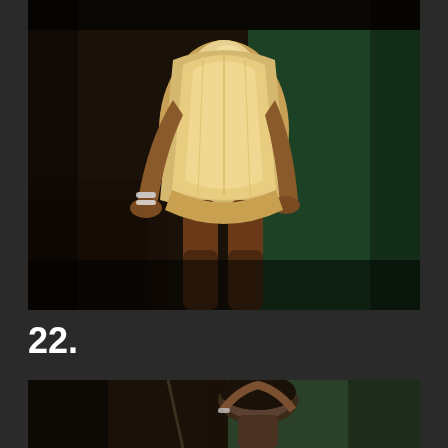[Figure (photo): Woman in cream/gold fitted dress posing against a dark green background, seated on dark leather furniture]
22.
[Figure (photo): Partial view of a person with dark hair posing against a green background]